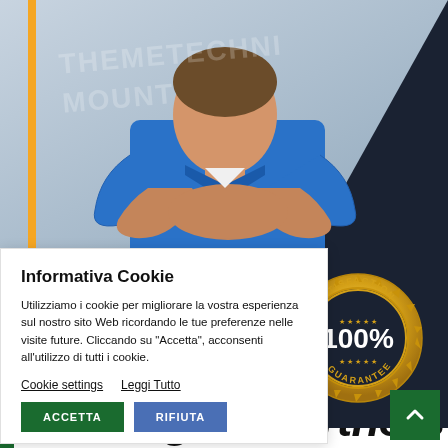[Figure (photo): A man in a blue work uniform with arms crossed, shown from chest up against a light background. Orange vertical accent bar on left. Dark triangle in top-right corner. Watermark text overlay reading 'THEMETECHNI... MOUNT'.]
[Figure (illustration): Gold satisfaction guarantee badge/seal reading 'SATISFACTION 100% GUARANTEE' on dark navy background.]
Informativa Cookie
Utilizziamo i cookie per migliorare la vostra esperienza sul nostro sito Web ricordando le tue preferenze nelle visite future. Cliccando su "Accetta", acconsenti all'utilizzo di tutti i cookie.
Cookie settings   Leggi Tutto
ACCETTA   RIFIUTA
Our Dig Partners